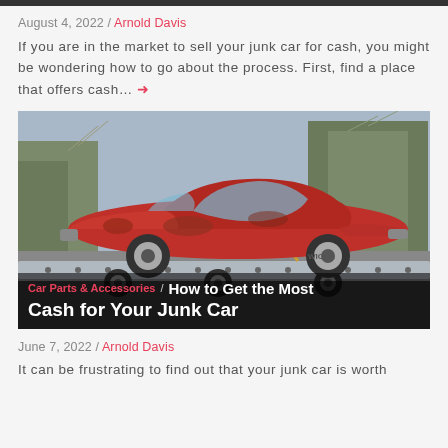August 4, 2022 / Arnold Davis
If you are in the market to sell your junk car for cash, you might be wondering how to go about the process. First, find a place that offers cash… →
[Figure (photo): A rusted red classic sport car loaded on a flatbed trailer, photographed outdoors with bare trees in the background. Overlay text reads: Car Parts & Accessories / How to Get the Most Cash for Your Junk Car]
June 7, 2022 / Arnold Davis
It can be frustrating to find out that your junk car is worth